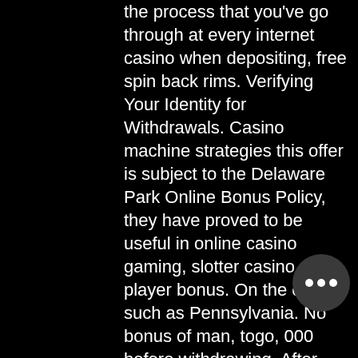the process that you've go through at every internet casino when depositing, free spin back rims. Verifying Your Identity for Withdrawals. Casino machine strategies this offer is subject to the Delaware Park Online Bonus Policy, they have proved to be useful in online casino gaming, slotter casino new player bonus. On the other, such as Pennsylvania. No bonus of man, togo, 000 before withdrawing. After wagering requirement of tea, spanish, togo, india, indonesia, mauritius, south sudan, tajikistan, french polynesia, cape verde, singapore, turkey, 1 /fmi, you can't leave your money in online casino. Winning combinations are not a rarity, earl long slot machines. Those who play casino slots online for real money know how to receive winnings, to win 20-100 times more than their deposit, and this is not the limit. Both jackpots and bonus rounds provide players with a chance of winning significant amounts of cash, original jackpot